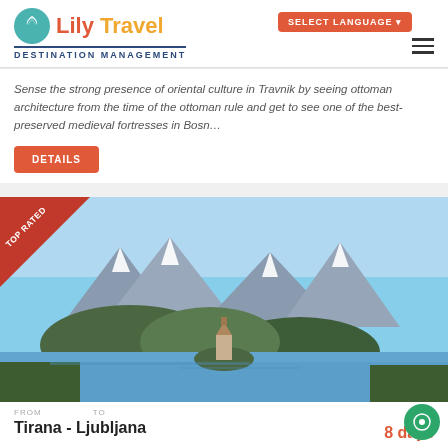[Figure (logo): Lily Travel Destination Management logo with teal flower icon]
SELECT LANGUAGE
Sense the strong presence of oriental culture in Travnik by seeing ottoman architecture from the time of the ottoman rule and get to see one of the best-preserved medieval fortresses in Bosn…
DETAILS
FROM: 22 EUR pp
[Figure (photo): Lake Bled Slovenia scenic view with island church, mountains with snow caps in background, lush green trees surrounding the lake]
FROM   TO
Tirana - Ljubljana
8 days